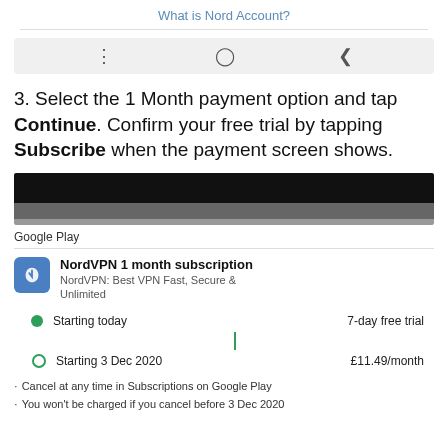What is Nord Account?
[Figure (screenshot): Mobile navigation bar with three icons: hamburger menu, home circle, back arrow]
3. Select the 1 Month payment option and tap Continue. Confirm your free trial by tapping Subscribe when the payment screen shows.
[Figure (screenshot): Google Play subscription confirmation screen showing NordVPN 1 month subscription with 7-day free trial starting today and £11.49/month starting 3 Dec 2020, with cancel and charge warnings]
Google Play
NordVPN 1 month subscription
NordVPN: Best VPN Fast, Secure & Unlimited
Starting today    7-day free trial
Starting 3 Dec 2020    £11.49/month
Cancel at any time in Subscriptions on Google Play
You won't be charged if you cancel before 3 Dec 2020